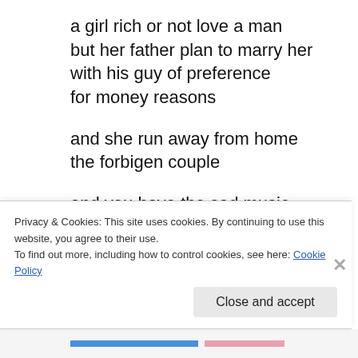a girl rich or not love a man
but her father plan to marry her
with his guy of preference
for money reasons

and she run away from home
the forbigen couple

and you have the sad music

india and greek movies
are similar
Privacy & Cookies: This site uses cookies. By continuing to use this website, you agree to their use.
To find out more, including how to control cookies, see here: Cookie Policy